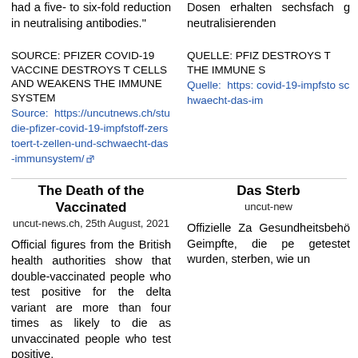had a five- to six-fold reduction in neutralising antibodies."
Dosen erhalten sechsfach g neutralisierenden
SOURCE: PFIZER COVID-19 VACCINE DESTROYS T CELLS AND WEAKENS THE IMMUNE SYSTEM
Source: https://uncutnews.ch/studie-pfizer-covid-19-impfstoff-zerstoert-t-zellen-und-schwaecht-das-immunsystem/
QUELLE: PFIZ DESTROYS T THE IMMUNE S
Quelle: https: covid-19-impfsto schwaecht-das-im
The Death of the Vaccinated
uncut-news.ch, 25th August, 2021
Das Sterb
uncut-new
Official figures from the British health authorities show that double-vaccinated people who test positive for the delta variant are more than four times as likely to die as unvaccinated people who test positive.
Offizielle Za Gesundheitsbehö Geimpfte, die pe getestet wurden, sterben, wie un